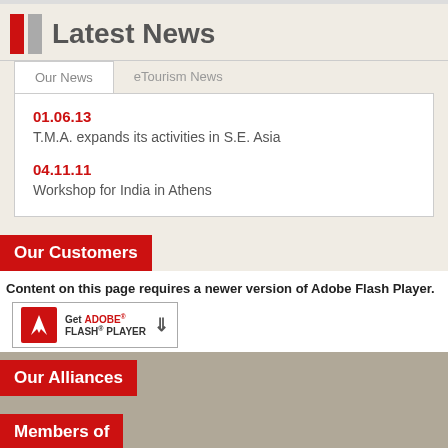Latest News
Our News | eTourism News
01.06.13
T.M.A. expands its activities in S.E. Asia
04.11.11
Workshop for India in Athens
Our Customers
Content on this page requires a newer version of Adobe Flash Player.
[Figure (screenshot): Get Adobe Flash Player badge/button]
Our Alliances
Members of